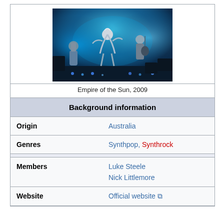[Figure (photo): Empire of the Sun performing on stage in 2009, with elaborate costumes and blue stage lighting]
Empire of the Sun, 2009
| Field | Value |
| --- | --- |
| Background information |  |
| Origin | Australia |
| Genres | Synthpop, Synthrock |
| Members | Luke Steele
Nick Littlemore |
| Website | Official website |